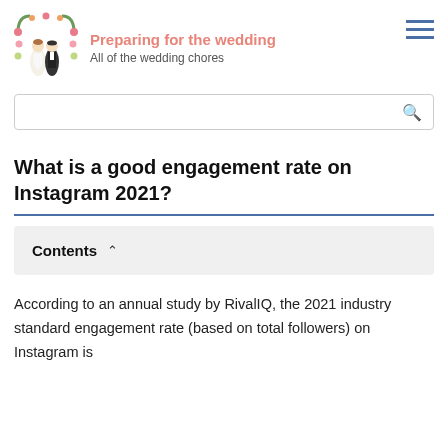Preparing for the wedding — All of the wedding chores
What is a good engagement rate on Instagram 2021?
Contents
According to an annual study by RivalIQ, the 2021 industry standard engagement rate (based on total followers) on Instagram is 0.98% and below average, but at the